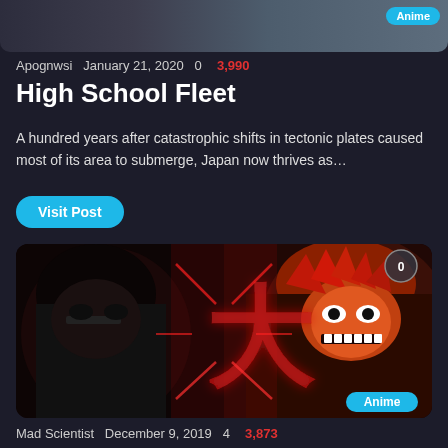[Figure (photo): Top cropped anime image with Anime badge in top right corner]
Apognwsi   January 21, 2020   0   3,990
High School Fleet
A hundred years after catastrophic shifts in tectonic plates caused most of its area to submerge, Japan now thrives as…
Visit Post
[Figure (photo): Anime artwork featuring two characters — a dark-haired character on the left and a fierce red-haired character on the right — with red kanji/energy effects in the center. Anime badge in bottom right, comment count 0 in top right.]
Mad Scientist   December 9, 2019   4   3,873